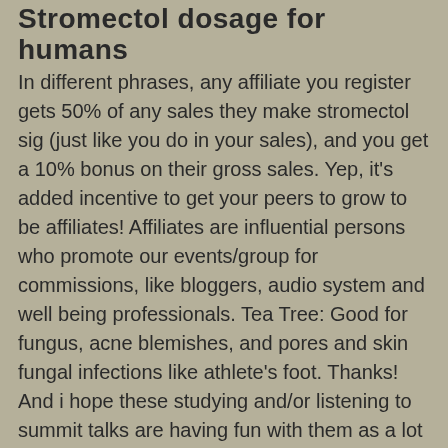Stromectol dosage for humans
In different phrases, any affiliate you register gets 50% of any sales they make stromectol sig (just like you do in your sales), and you get a 10% bonus on their gross sales. Yep, it's added incentive to get your peers to grow to be affiliates! Affiliates are influential persons who promote our events/group for commissions, like bloggers, audio system and well being professionals. Tea Tree: Good for fungus, acne blemishes, and pores and skin fungal infections like athlete's foot. Thanks! And i hope these studying and/or listening to summit talks are having fun with them as a lot as we are. I hope this helps you. Resveratrol - Protects cells from free radical damage, Inhibits spread of most cancers, especially prostate most cancers, Lowers blood stress, Keeps coronary heart healthy and improves elasticity in blood vessels, Normalizes anti-inflammatory response, Helps prevent Alzheimer's disease. Kratom - lower blood strain, relieve ache, boost metabolism, increase sexual power, enhance the immune system